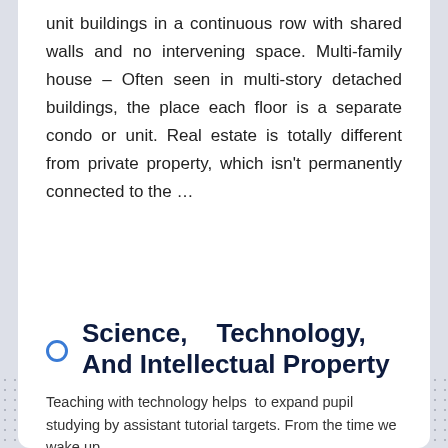unit buildings in a continuous row with shared walls and no intervening space. Multi-family house – Often seen in multi-story detached buildings, the place each floor is a separate condo or unit. Real estate is totally different from private property, which isn't permanently connected to the ...
10/02/2021 by angeleds  Network
Science, Technology, And Intellectual Property
Teaching with technology helps to expand pupil studying by assistant tutorial targets. From the time we wake up,